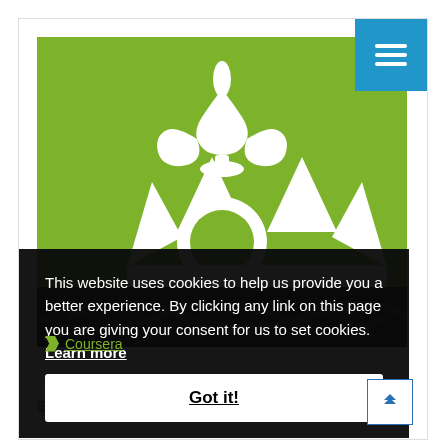[Figure (logo): Queen Mary University of London logo — white crown and fleur-de-lis on green background]
This website uses cookies to help us provide you a better experience. By clicking any link on this page you are giving your consent for us to set cookies.  Learn more
Got it!
Coursera
Queen Mary University of London